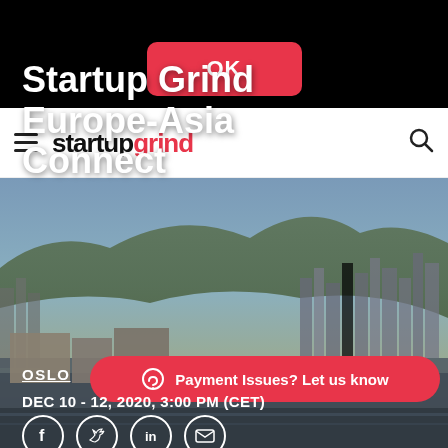[Figure (screenshot): Black top bar with a red rounded OK button]
startup grind
[Figure (photo): Aerial city skyline photo of Oslo waterfront with mountains in background]
Startup Grind Europe-Asia Connect
OSLO
Payment Issues? Let us know
DEC 10 - 12, 2020, 3:00 PM (CET)
[Figure (infographic): Social media sharing icons: Facebook, Twitter, LinkedIn, Email in white circles]